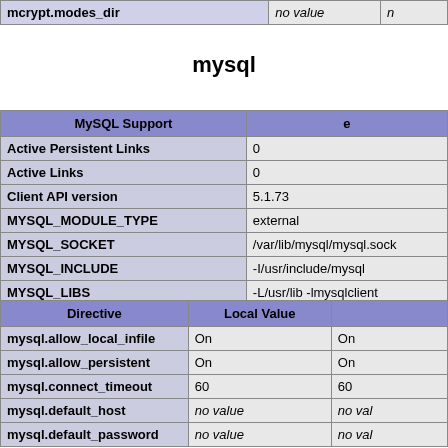| mcrypt.modes_dir | no value | n |
| --- | --- | --- |
mysql
| MySQL Support | e |
| --- | --- |
| Active Persistent Links | 0 |
| Active Links | 0 |
| Client API version | 5.1.73 |
| MYSQL_MODULE_TYPE | external |
| MYSQL_SOCKET | /var/lib/mysql/mysql.sock |
| MYSQL_INCLUDE | -I/usr/include/mysql |
| MYSQL_LIBS | -L/usr/lib -lmysqlclient |
| Directive | Local Value |  |
| --- | --- | --- |
| mysql.allow_local_infile | On | On |
| mysql.allow_persistent | On | On |
| mysql.connect_timeout | 60 | 60 |
| mysql.default_host | no value | no value |
| mysql.default_password | no value | no value |